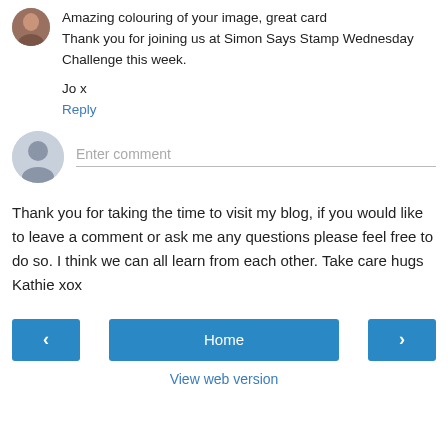Amazing colouring of your image, great card Thank you for joining us at Simon Says Stamp Wednesday Challenge this week.

Jo x
Reply
[Figure (other): Enter comment input field with user avatar placeholder]
Thank you for taking the time to visit my blog, if you would like to leave a comment or ask me any questions please feel free to do so. I think we can all learn from each other. Take care hugs Kathie xox
< Home >
View web version